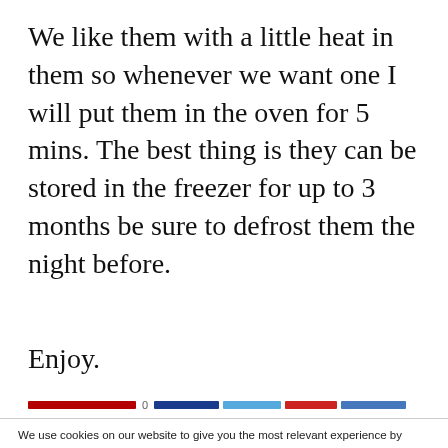We like them with a little heat in them so whenever we want one I will put them in the oven for 5 mins. The best thing is they can be stored in the freezer for up to 3 months be sure to defrost them the night before.
Enjoy.
[Figure (infographic): Social sharing bar with colored horizontal bars (dark red, dark blue, light blue, medium red, blue) and a count of 0]
We use cookies on our website to give you the most relevant experience by remembering your preferences and repeat visits. By clicking “Accept All”, you consent to the use of ALL the cookies. However, you may visit "Cookie Settings" to provide a controlled consent.